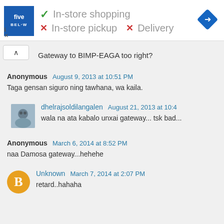[Figure (screenshot): Five Below store ad banner showing in-store shopping (checkmark), in-store pickup (X), and Delivery (X), with navigation icon]
Gateway to BIMP-EAGA too right?
Anonymous   August 9, 2013 at 10:51 PM
Taga gensan siguro ning tawhana, wa kaila.
dhelrajsoldilangalen   August 21, 2013 at 10:4
wala na ata kabalo unxai gateway... tsk bad...
Anonymous   March 6, 2014 at 8:52 PM
naa Damosa gateway...hehehe
Unknown   March 7, 2014 at 2:07 PM
retard..hahaha